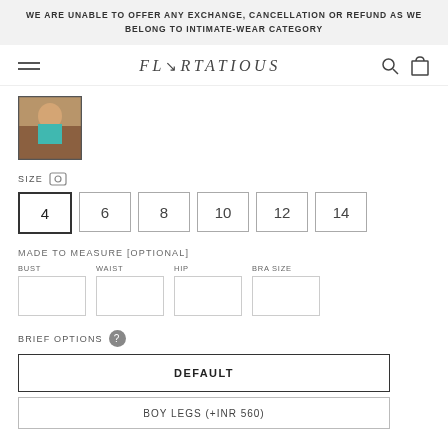WE ARE UNABLE TO OFFER ANY EXCHANGE, CANCELLATION OR REFUND AS WE BELONG TO INTIMATE-WEAR CATEGORY
[Figure (logo): FLIRTATIOUS brand logo with navigation hamburger menu and search/cart icons]
[Figure (photo): Small product thumbnail showing a woman in teal swimwear]
SIZE
4  6  8  10  12  14 (size selector buttons)
MADE TO MEASURE [OPTIONAL]
BUST  WAIST  HIP  BRA SIZE (input fields)
BRIEF OPTIONS
DEFAULT
BOY LEGS (+INR 560)